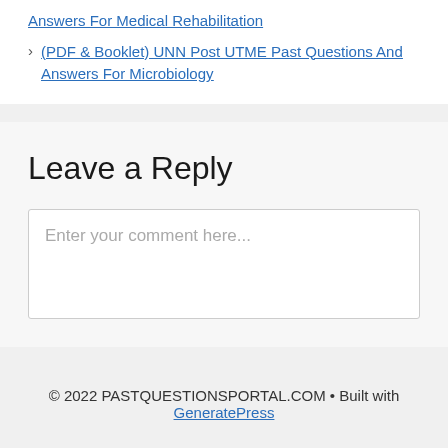Answers For Medical Rehabilitation
(PDF & Booklet) UNN Post UTME Past Questions And Answers For Microbiology
Leave a Reply
Enter your comment here...
© 2022 PASTQUESTIONSPORTAL.COM • Built with GeneratePress